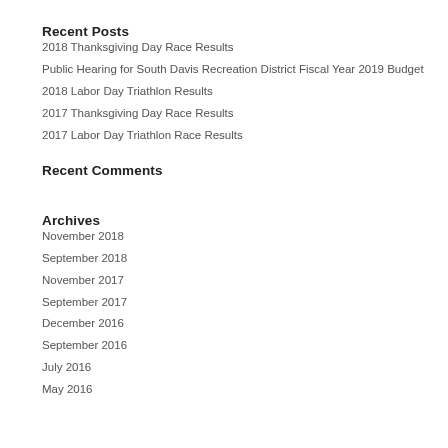Recent Posts
2018 Thanksgiving Day Race Results
Public Hearing for South Davis Recreation District Fiscal Year 2019 Budget
2018 Labor Day Triathlon Results
2017 Thanksgiving Day Race Results
2017 Labor Day Triathlon Race Results
Recent Comments
Archives
November 2018
September 2018
November 2017
September 2017
December 2016
September 2016
July 2016
May 2016